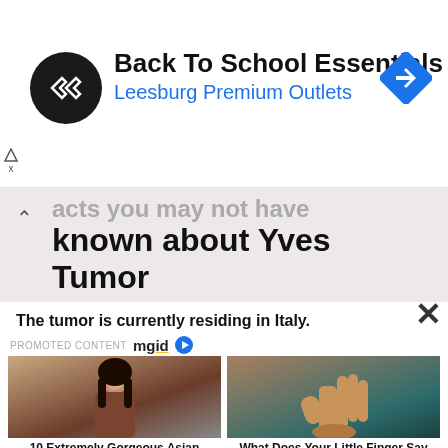[Figure (screenshot): Advertisement banner for Back To School Essentials at Leesburg Premium Outlets with logo and navigation arrow icon]
acts you may not have known about Yves Tumor
The tumor is currently residing in Italy.
PROMOTED CONTENT mgid
[Figure (photo): Photo of a woman with dark hair and striking eyes]
10 Extremely Gorgeous Asian Actresses
[Figure (photo): Photo of a hand showing fingers]
What Does Your Little Finger Say About Your Personality?